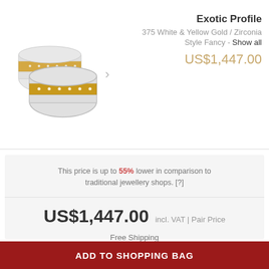[Figure (photo): Two wedding rings made of white and yellow gold with zirconia stones, shown side by side at an angle]
Exotic Profile
375 White & Yellow Gold / Zirconia
Style Fancy - Show all
US$1,447.00
This price is up to 55% lower in comparison to traditional jewellery shops. [?]
US$1,447.00  incl. VAT | Pair Price
Free Shipping
60 Day Return Policy
Estimated delivery time: Friday, 02 Sep
View Delivery Options
Select an Extended Protection Plan
ADD TO SHOPPING BAG